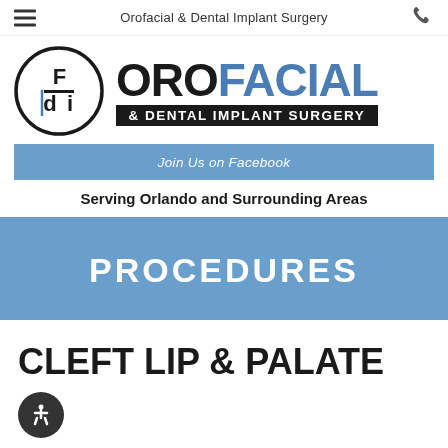Orofacial & Dental Implant Surgery
[Figure (logo): Orofacial & Dental Implant Surgery logo with circular emblem and text]
Join Us on Facebook
Serving Orlando and Surrounding Areas
PROCEDURES
CLEFT LIP & PALATE